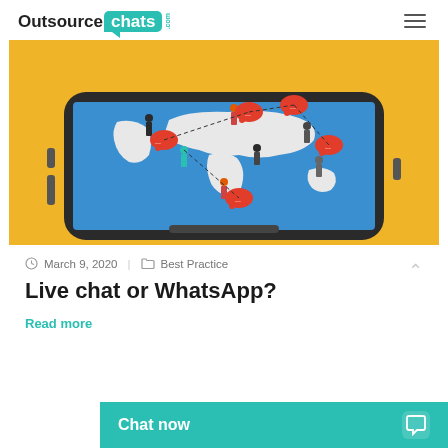OutsourceChats.com
[Figure (illustration): Isometric illustration of a smartphone with a world map on the screen, featuring small cartoon people standing on different continents with red speech bubble icons connecting them, set against a yellow background — representing global live chat communication.]
March 9, 2020 | Best Practice
Live chat or WhatsApp?
Read more
Chat now